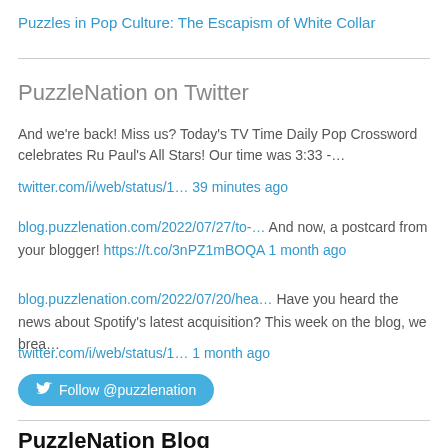Puzzles in Pop Culture: The Escapism of White Collar
PuzzleNation on Twitter
And we're back! Miss us? Today's TV Time Daily Pop Crossword celebrates Ru Paul's All Stars! Our time was 3:33 -…
twitter.com/i/web/status/1… 39 minutes ago
blog.puzzlenation.com/2022/07/27/to-… And now, a postcard from your blogger! https://t.co/3nPZ1mBOQA 1 month ago
blog.puzzlenation.com/2022/07/20/hea… Have you heard the news about Spotify's latest acquisition? This week on the blog, we brea… twitter.com/i/web/status/1… 1 month ago
Follow @puzzlenation
PuzzleNation Blog